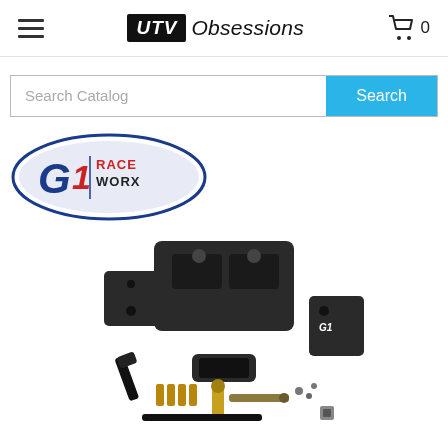UTV Obsessions — navigation header with hamburger menu and cart icon showing 0 items
Search Catalog
[Figure (logo): G1 Race Worx brand logo — oval shape with red and blue accents, text reads 'G1 RACE WORX']
[Figure (photo): G1 Race Worx product kit — black metal mounting plates and brackets with hardware including bolts, pins, and rods laid out on white background]